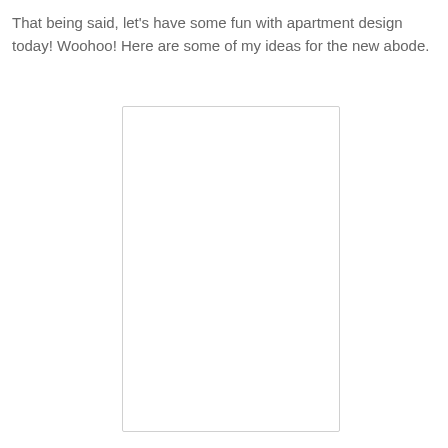That being said, let's have some fun with apartment design today! Woohoo! Here are some of my ideas for the new abode.
[Figure (photo): A blank/white image placeholder with a light gray border, representing an apartment design photo that is not loaded or visible.]